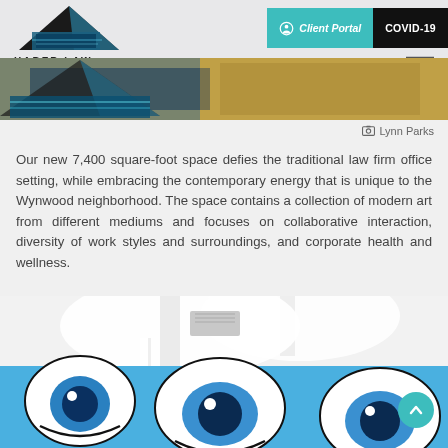HABER LAW | Client Portal | COVID-19
[Figure (photo): Cropped photo of Haber Law office interior or building exterior with blue artistic elements]
Lynn Parks (photo credit)
Our new 7,400 square-foot space defies the traditional law firm office setting, while embracing the contemporary energy that is unique to the Wynwood neighborhood. The space contains a collection of modern art from different mediums and focuses on collaborative interaction, diversity of work styles and surroundings, and corporate health and wellness.
[Figure (photo): Interior photo of Haber Law office showing contemporary mural art with blue cartoon-style face characters and white modern ceiling]